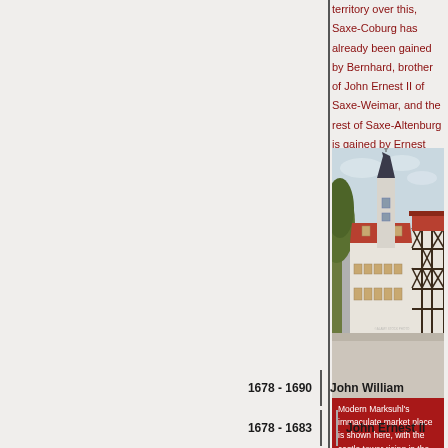territory over this, Saxe-Coburg has already been gained by Bernhard, brother of John Ernest II of Saxe-Weimar, and the rest of Saxe-Altenburg is gained by Ernest 'the Pious' of Saxe-Gotha.
[Figure (photo): Modern Marksuhl town market place showing a historic building with clock tower and half-timbered structure.]
Modern Marksuhl's immaculate market place is shown here, with the castle tower rising in the background as part of the home of the dukes of Saxe-Marksuhl
1678–1690   John William
1678–1683   John Ernest II